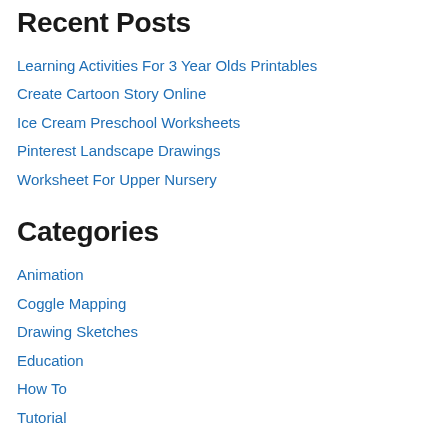Recent Posts
Learning Activities For 3 Year Olds Printables
Create Cartoon Story Online
Ice Cream Preschool Worksheets
Pinterest Landscape Drawings
Worksheet For Upper Nursery
Categories
Animation
Coggle Mapping
Drawing Sketches
Education
How To
Tutorial